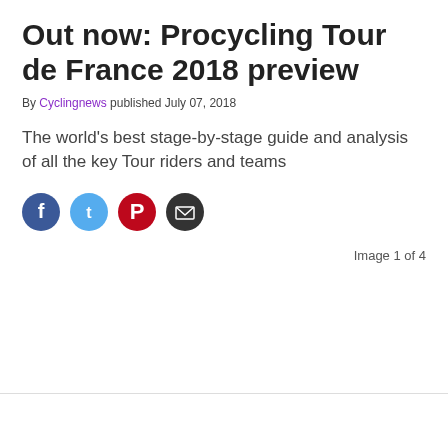Out now: Procycling Tour de France 2018 preview
By Cyclingnews published July 07, 2018
The world's best stage-by-stage guide and analysis of all the key Tour riders and teams
[Figure (infographic): Social share icons: Facebook (dark blue circle), Twitter (light blue circle), Pinterest (red circle), Email (dark grey circle)]
Image 1 of 4